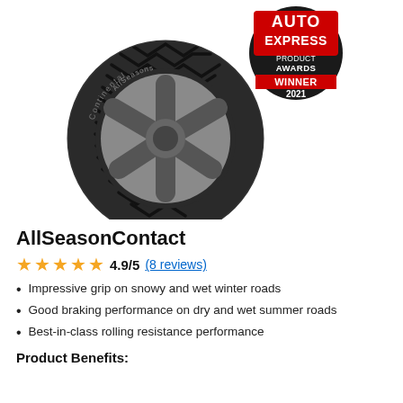[Figure (photo): Continental AllSeasonContact tyre with AllSeasons branding on the sidewall, shown at an angle on a white background. The tyre features a distinctive V-shaped herringbone tread pattern. An Auto Express Product Awards Winner 2021 badge appears in the top right corner of the image.]
AllSeasonContact
4.9/5 (8 reviews)
Impressive grip on snowy and wet winter roads
Good braking performance on dry and wet summer roads
Best-in-class rolling resistance performance
Product Benefits: